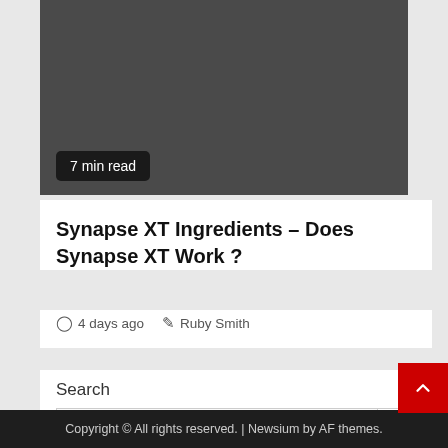[Figure (photo): Dark gray hero/banner image area with a '7 min read' badge at the bottom left]
Synapse XT Ingredients – Does Synapse XT Work ?
4 days ago   Ruby Smith
Search
Copyright © All rights reserved. | Newsium by AF themes.